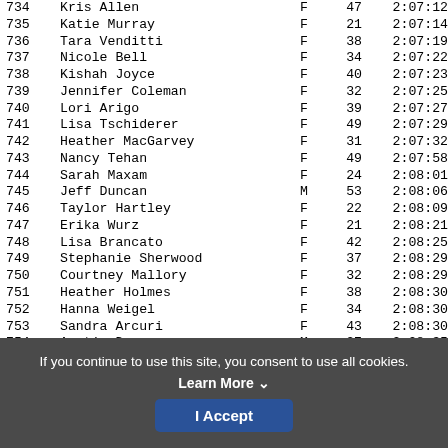| Place | Name | Sex | Age | Time |
| --- | --- | --- | --- | --- |
| 734 | Kris Allen | F | 47 | 2:07:12 |
| 735 | Katie Murray | F | 21 | 2:07:14 |
| 736 | Tara Venditti | F | 38 | 2:07:19 |
| 737 | Nicole Bell | F | 34 | 2:07:22 |
| 738 | Kishah Joyce | F | 40 | 2:07:23 |
| 739 | Jennifer Coleman | F | 32 | 2:07:25 |
| 740 | Lori Arigo | F | 39 | 2:07:27 |
| 741 | Lisa Tschiderer | F | 49 | 2:07:29 |
| 742 | Heather MacGarvey | F | 31 | 2:07:32 |
| 743 | Nancy Tehan | F | 49 | 2:07:58 |
| 744 | Sarah Maxam | F | 24 | 2:08:01 |
| 745 | Jeff Duncan | M | 53 | 2:08:06 |
| 746 | Taylor Hartley | F | 22 | 2:08:09 |
| 747 | Erika Wurz | F | 21 | 2:08:21 |
| 748 | Lisa Brancato | F | 42 | 2:08:25 |
| 749 | Stephanie Sherwood | F | 37 | 2:08:29 |
| 750 | Courtney Mallory | F | 32 | 2:08:29 |
| 751 | Heather Holmes | F | 38 | 2:08:30 |
| 752 | Hanna Weigel | F | 34 | 2:08:30 |
| 753 | Sandra Arcuri | F | 43 | 2:08:30 |
| 754 | Austin Donovan | M | 27 | 2:08:35 |
| 755 | Susan Fenlong | F | 37 | 2:08:35 |
If you continue to use this site, you consent to use all cookies. Learn More
I Accept